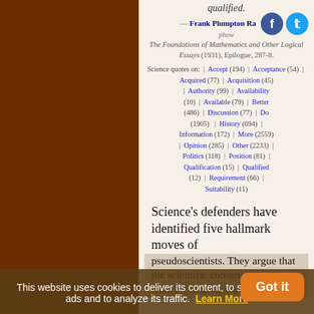qualified.
— Frank Plumpton Ramsey, The Foundations of Mathematics and Other Logical Essays (1931), Epilogue, 287-8.
Science quotes on: | Accept (194) | Acceptance (54) | Acquired (77) | Acquisition (45) | Authority (99) | Availability (10) | Available (79) | Better (486) | Discussion (77) | Do (1905) | History (694) | Information (172) | More (2559) | Opinion (285) | Other (2233) | Politics (118) | Position (81) | Qualification (15) | Qualified (12) | Requirement (66) | Suitability (11)
Science's defenders have identified five hallmark moves of pseudoscientists. They argue that the scientific consensus emerges from a conspiracy to suppress dissenting views. The
This website uses cookies to deliver its content, to show relevant ads and to analyze its traffic. Learn More
Got it